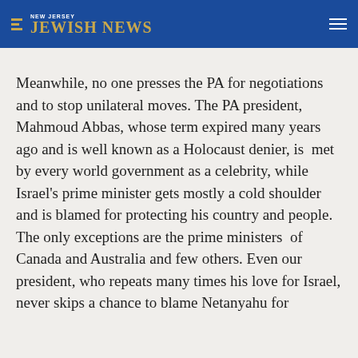NEW JERSEY JEWISH NEWS
Meanwhile, no one presses the PA for negotiations and to stop unilateral moves. The PA president, Mahmoud Abbas, whose term expired many years ago and is well known as a Holocaust denier, is met by every world government as a celebrity, while Israel's prime minister gets mostly a cold shoulder and is blamed for protecting his country and people. The only exceptions are the prime ministers of Canada and Australia and few others. Even our president, who repeats many times his love for Israel, never skips a chance to blame Netanyahu for